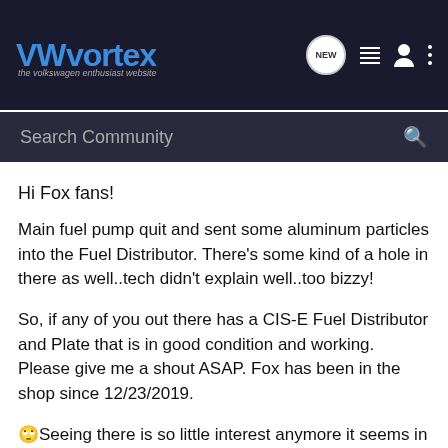VWvortex — the volkswagen enthusiast website
Search Community
Hi Fox fans!
Main fuel pump quit and sent some aluminum particles into the Fuel Distributor. There's some kind of a hole in there as well..tech didn't explain well..too bizzy!
So, if any of you out there has a CIS-E Fuel Distributor and Plate that is in good condition and working. Please give me a shout ASAP. Fox has been in the shop since 12/23/2019.
🙄Seeing there is so little interest anymore it seems in the US and most of the Fox wagons and Sedans have been crushed compounded by lack of parts and reliable knowledgeable techs to work on these wonderful cars. I may be on the road to moving onto another brand of automobile I am very sad to say